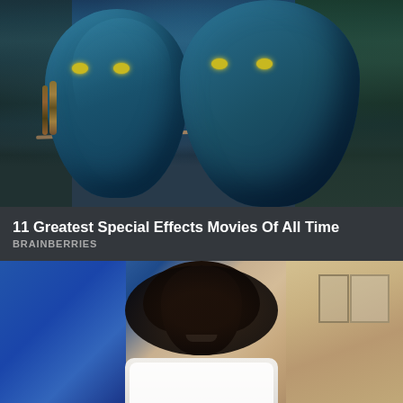[Figure (photo): Two blue-skinned Na'vi characters from the movie Avatar, shown in close-up with yellow eyes, dark braided hair with beads, in a jungle setting. One holds a bow/spear.]
11 Greatest Special Effects Movies Of All Time
BRAINBERRIES
[Figure (photo): A smiling young Black woman with long curly dark hair, wearing a white top, standing outdoors in front of a blue vehicle and a building with a yellow/beige wall.]